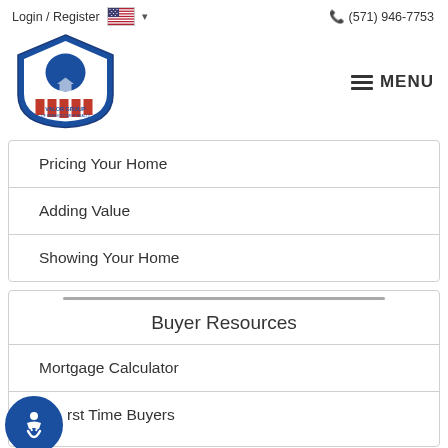Login / Register  (571) 946-7753
[Figure (logo): Valor Group of Pearson Smith Realty logo — eagle shield with stars and red stripes]
Pricing Your Home
Adding Value
Showing Your Home
Buyer Resources
Mortgage Calculator
First Time Buyers